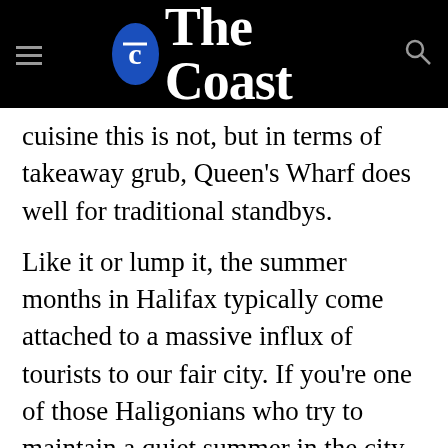The Coast
cuisine this is not, but in terms of takeaway grub, Queen's Wharf does well for traditional standbys.
Like it or lump it, the summer months in Halifax typically come attached to a massive influx of tourists to our fair city. If you're one of those Haligonians who try to maintain a quiet summer in the city, unimpeded by the crowds of agog visitors, you probably tend to avoid the waterfront at all costs. But for many downtown shop owners, there's no denying simple economics: tourist season also brings a substantial injection of travellers' cash to the downtown core. And the waterfront sees a booming business thanks to the cruise ships that